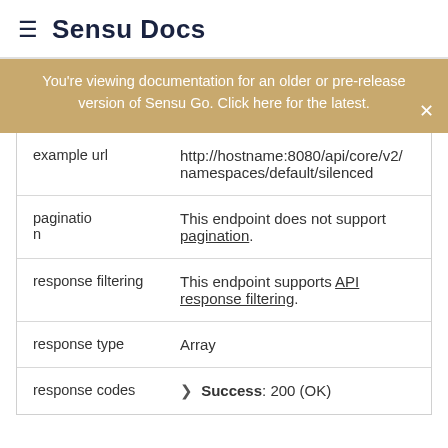≡ Sensu Docs
You're viewing documentation for an older or pre-release version of Sensu Go. Click here for the latest.
| example url | http://hostname:8080/api/core/v2/namespaces/default/silenced |
| pagination | This endpoint does not support pagination. |
| response filtering | This endpoint supports API response filtering. |
| response type | Array |
| response codes | ▶ Success: 200 (OK) |